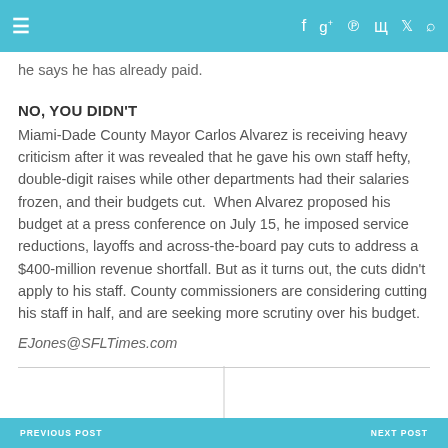≡  f  g+  p  RSS  Twitter  Search
he says he has already paid.
NO, YOU DIDN'T
Miami-Dade County Mayor Carlos Alvarez is receiving heavy criticism after it was revealed that he gave his own staff hefty, double-digit raises while other departments had their salaries frozen, and their budgets cut.  When Alvarez proposed his budget at a press conference on July 15, he imposed service reductions, layoffs and across-the-board pay cuts to address a $400-million revenue shortfall. But as it turns out, the cuts didn't apply to his staff. County commissioners are considering cutting his staff in half, and are seeking more scrutiny over his budget.
EJones@SFLTimes.com
PREVIOUS POST   NEXT POST